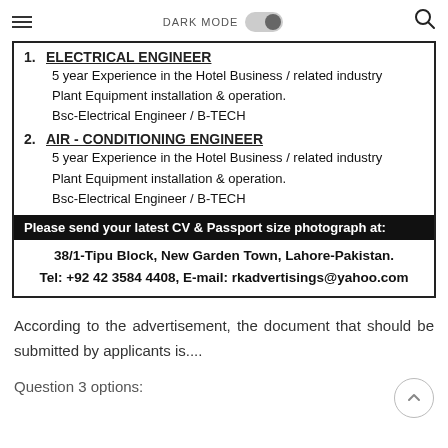DARK MODE [toggle] [search icon]
[Figure (other): Job advertisement box with two job listings (Electrical Engineer and Air-Conditioning Engineer) and contact information]
According to the advertisement, the document that should be submitted by applicants is....
Question 3 options: